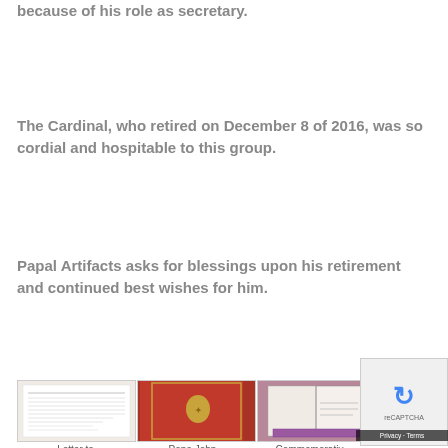because of his role as secretary.
The Cardinal, who retired on December 8 of 2016, was so cordial and hospitable to this group.
Papal Artifacts asks for blessings upon his retirement and continued best wishes for him.
[Figure (photo): Three photos in a row: a typed letter document, a red book with gold papal crest, and an open commemorative book in a purple case.]
Letter to
Pope John
Commemorativ